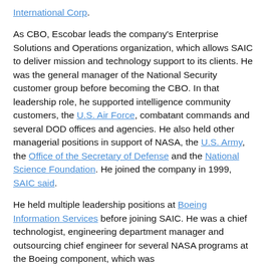International Corp. As CBO, Escobar leads the company's Enterprise Solutions and Operations organization, which allows SAIC to deliver mission and technology support to its clients. He was the general manager of the National Security customer group before becoming the CBO. In that leadership role, he supported intelligence community customers, the U.S. Air Force, combatant commands and several DOD offices and agencies. He also held other managerial positions in support of NASA, the U.S. Army, the Office of the Secretary of Defense and the National Science Foundation. He joined the company in 1999, SAIC said.
He held multiple leadership positions at Boeing Information Services before joining SAIC. He was a chief technologist, engineering department manager and outsourcing chief engineer for several NASA programs at the Boeing component, which was